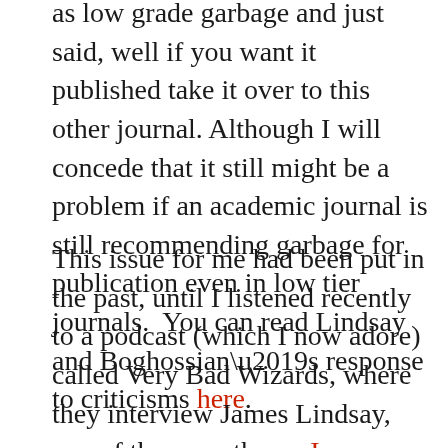as low grade garbage and just said, well if you want it published take it over to this other journal. Although I will concede that it still might be a problem if an academic journal is still recommending garbage for publication even in low tier journals.  You can read Lindsay and Boghossian’s response to criticisms here.
This issue for me had been put in the past, until I listened recently to a podcast (which I now adore) called Very Bad Wizards, where they interview James Lindsay, one of the co-authors.  I recommend listening to the interview (especially if you like watch mathematicians dance) which starts half way through the podcast, but Lindsay comes off as completely unwilling to concede that the paper wasn’t very successful, and in fact comes off someone who was